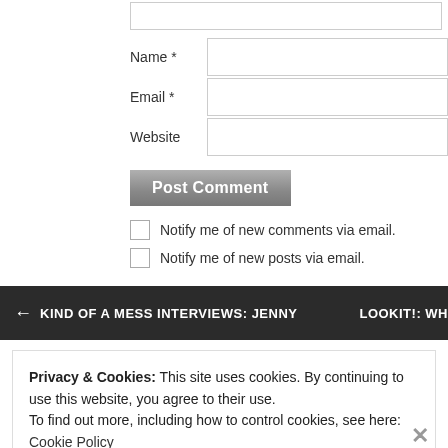[Figure (screenshot): Top of a comment form showing a textarea (partially visible), then Name, Email, Website input fields]
Name *
Email *
Website
Post Comment
Notify me of new comments via email.
Notify me of new posts via email.
← KIND OF A MESS INTERVIEWS: JENNY    LOOKIT!: WH
Privacy & Cookies: This site uses cookies. By continuing to use this website, you agree to their use.
To find out more, including how to control cookies, see here: Cookie Policy
Close and accept